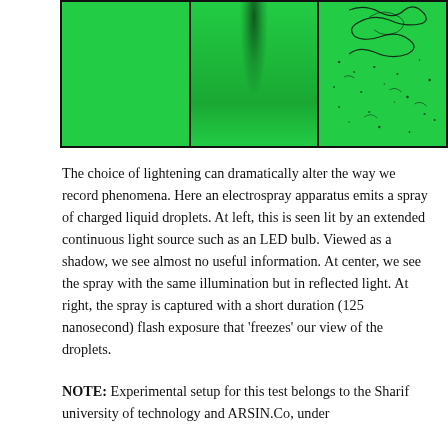[Figure (photo): Three side-by-side green-lit photographs of an electrospray apparatus emitting charged liquid droplets. Left panel: plain green illumination showing almost no detail. Center panel: same illumination in reflected light showing a faint shadow/spray. Right panel: short-duration (125 nanosecond) flash exposure revealing detailed droplet patterns as dark squiggles and specks against green background.]
The choice of lightening can dramatically alter the way we record phenomena. Here an electrospray apparatus emits a spray of charged liquid droplets. At left, this is seen lit by an extended continuous light source such as an LED bulb. Viewed as a shadow, we see almost no useful information. At center, we see the spray with the same illumination but in reflected light. At right, the spray is captured with a short duration (125 nanosecond) flash exposure that 'freezes' our view of the droplets.
NOTE: Experimental setup for this test belongs to the Sharif university of technology and ARSIN.Co, under